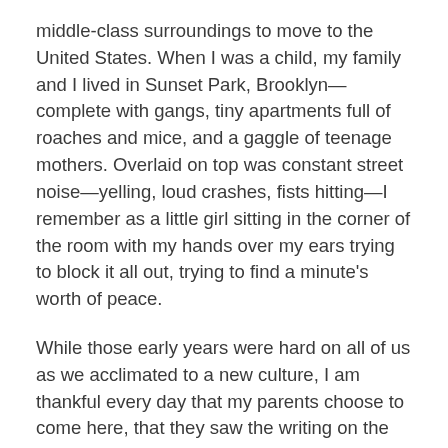middle-class surroundings to move to the United States. When I was a child, my family and I lived in Sunset Park, Brooklyn—complete with gangs, tiny apartments full of roaches and mice, and a gaggle of teenage mothers. Overlaid on top was constant street noise—yelling, loud crashes, fists hitting—I remember as a little girl sitting in the corner of the room with my hands over my ears trying to block it all out, trying to find a minute's worth of peace.
While those early years were hard on all of us as we acclimated to a new culture, I am thankful every day that my parents choose to come here, that they saw the writing on the wall for Greece's future. Every time I speak to one of my relatives in Greece currently facing years of recession with no recovery in sight, I know they made the right decision.
Growing up first-generation, straddling two countries,